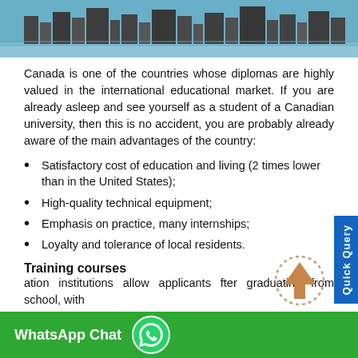[Figure (photo): Skyline of a Canadian city with waterfront, blue sky and buildings]
Canada is one of the countries whose diplomas are highly valued in the international educational market. If you are already asleep and see yourself as a student of a Canadian university, then this is no accident, you are probably already aware of the main advantages of the country:
Satisfactory cost of education and living (2 times lower than in the United States);
High-quality technical equipment;
Emphasis on practice, many internships;
Loyalty and tolerance of local residents.
Training courses
ation institutions allow applicants fter graduating from school, with
[Figure (other): Scroll-to-top arrow button with dotted circle border]
[Figure (logo): WhatsApp Chat button with green background and WhatsApp icon]